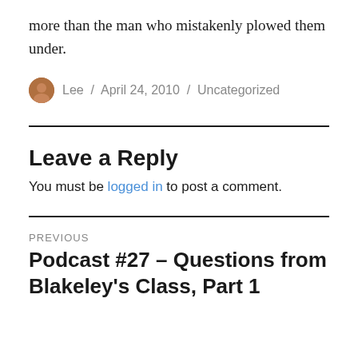more than the man who mistakenly plowed them under.
Lee / April 24, 2010 / Uncategorized
Leave a Reply
You must be logged in to post a comment.
PREVIOUS
Podcast #27 – Questions from Blakeley's Class, Part 1